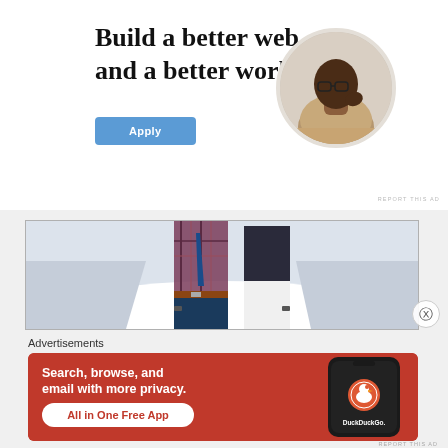Build a better web and a better world.
[Figure (illustration): Apply button (blue/teal rounded rectangle with white text 'Apply')]
[Figure (photo): Circular cropped photo of a Black man with glasses sitting at a desk, thinking, resting hand on chin]
REPORT THIS AD
[Figure (photo): Banner photo of two people standing outdoors in winter/snowy setting, man in plaid shirt with tie, woman in dark top and white pants]
Advertisements
[Figure (screenshot): DuckDuckGo advertisement: orange-red background, text 'Search, browse, and email with more privacy. All in One Free App', with DuckDuckGo logo and phone mockup on right side]